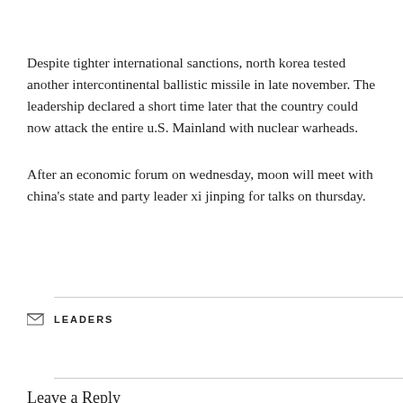Despite tighter international sanctions, north korea tested another intercontinental ballistic missile in late november. The leadership declared a short time later that the country could now attack the entire u.S. Mainland with nuclear warheads.
After an economic forum on wednesday, moon will meet with china's state and party leader xi jinping for talks on thursday.
LEADERS
Leave a Reply